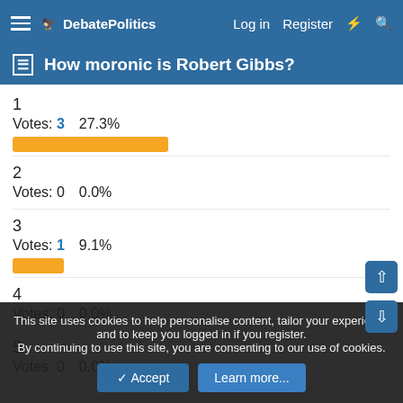DebatePolitics  Log in  Register
How moronic is Robert Gibbs?
1
Votes: 3  27.3%
2
Votes: 0  0.0%
3
Votes: 1  9.1%
4
Votes: 0  0.0%
5
Votes: 0  0.0%
This site uses cookies to help personalise content, tailor your experience and to keep you logged in if you register.
By continuing to use this site, you are consenting to our use of cookies.